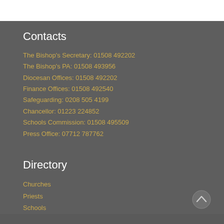Contacts
The Bishop's Secretary: 01508 492202
The Bishop's PA: 01508 493956
Diocesan Offices: 01508 492202
Finance Offices: 01508 492540
Safeguarding: 0208 505 4199
Chancellor: 01223 224852
Schools Commission: 01508 495509
Press Office: 07712 787762
Directory
Churches
Priests
Schools